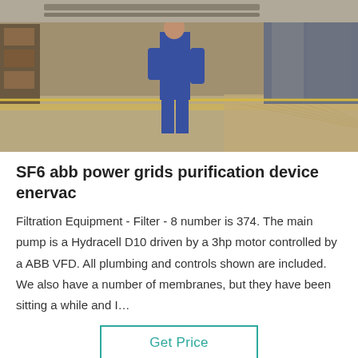[Figure (photo): Industrial facility interior showing a worker in blue coveralls in a corridor with equipment and yellow-edged floor]
SF6 abb power grids purification device enervac
Filtration Equipment - Filter - 8 number is 374. The main pump is a Hydracell D10 driven by a 3hp motor controlled by a ABB VFD. All plumbing and controls shown are included. We also have a number of membranes, but they have been sitting a while and I…
Get Price
[Figure (photo): Industrial facility interior background photo]
Leave Message   Chat Online